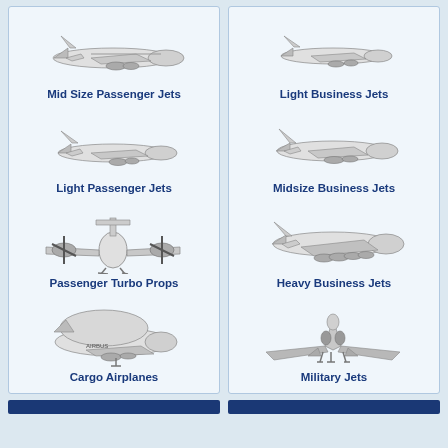[Figure (illustration): Mid Size Passenger Jet aircraft image]
Mid Size Passenger Jets
[Figure (illustration): Light Passenger Jet aircraft image]
Light Passenger Jets
[Figure (illustration): Passenger Turbo Props aircraft image (front view)]
Passenger Turbo Props
[Figure (illustration): Cargo Airplane (Airbus Beluga) aircraft image]
Cargo Airplanes
[Figure (illustration): Light Business Jet aircraft image]
Light Business Jets
[Figure (illustration): Midsize Business Jet aircraft image]
Midsize Business Jets
[Figure (illustration): Heavy Business Jet aircraft image]
Heavy Business Jets
[Figure (illustration): Military Jet (stealth fighter) aircraft image]
Military Jets